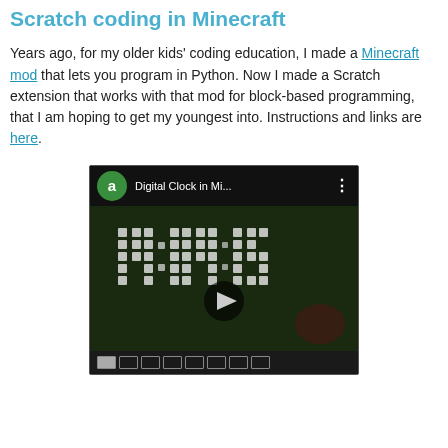Scratch coding in Minecraft
Years ago, for my older kids' coding education, I made a Minecraft mod that lets you program in Python. Now I made a Scratch extension that works with that mod for block-based programming, that I am hoping to get my youngest into. Instructions and links are here.
[Figure (screenshot): YouTube video thumbnail showing a Minecraft scene with a digital clock displaying 14:04:15 made of glowing blocks, with a play button overlay and video title 'Digital Clock in Mi...']